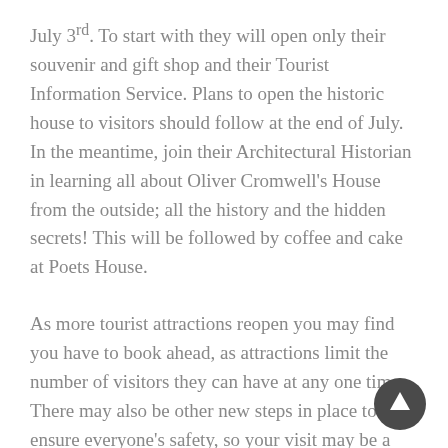July 3rd. To start with they will open only their souvenir and gift shop and their Tourist Information Service. Plans to open the historic house to visitors should follow at the end of July. In the meantime, join their Architectural Historian in learning all about Oliver Cromwell's House from the outside; all the history and the hidden secrets! This will be followed by coffee and cake at Poets House.
As more tourist attractions reopen you may find you have to book ahead, as attractions limit the number of visitors they can have at any one time. There may also be other new steps in place to ensure everyone's safety, so your visit may be a little different.